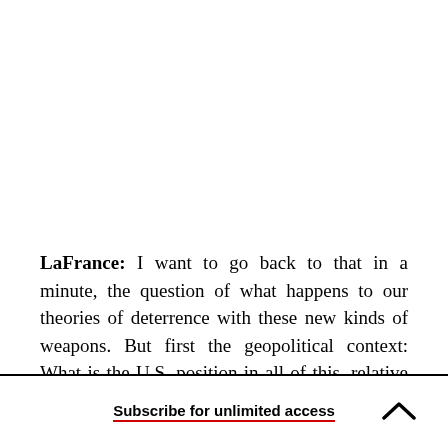LaFrance: I want to go back to that in a minute, the question of what happens to our theories of deterrence with these new kinds of weapons. But first the geopolitical context: What is the U.S. position in all of this, relative to what we imagine
Subscribe for unlimited access